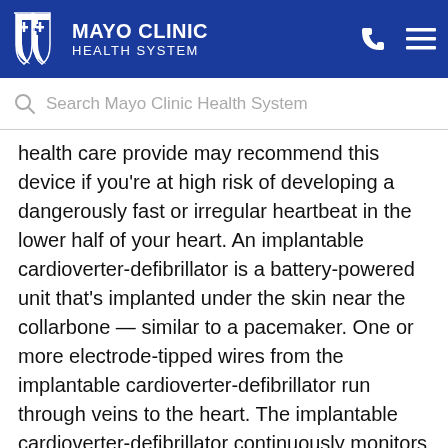MAYO CLINIC HEALTH SYSTEM
Search Mayo Clinic Health System
health care provide may recommend this device if you're at high risk of developing a dangerously fast or irregular heartbeat in the lower half of your heart. An implantable cardioverter-defibrillator is a battery-powered unit that's implanted under the skin near the collarbone — similar to a pacemaker. One or more electrode-tipped wires from the implantable cardioverter-defibrillator run through veins to the heart. The implantable cardioverter-defibrillator continuously monitors your heart rhythm.
If it detects an abnormal heart rhythm, it sends out low- or high-energy shocks to reset the heart to a